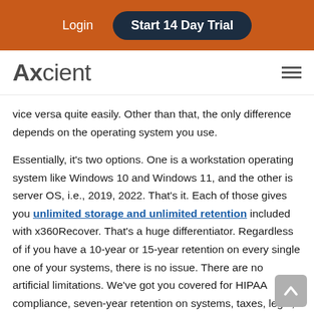Login  Start 14 Day Trial
[Figure (logo): Axcient logo with hamburger menu icon]
vice versa quite easily. Other than that, the only difference depends on the operating system you use.
Essentially, it's two options. One is a workstation operating system like Windows 10 and Windows 11, and the other is server OS, i.e., 2019, 2022. That's it. Each of those gives you unlimited storage and unlimited retention included with x360Recover. That's a huge differentiator. Regardless of if you have a 10-year or 15-year retention on every single one of your systems, there is no issue. There are no artificial limitations. We've got you covered for HIPAA compliance, seven-year retention on systems, taxes, legal, financial, whatever. It's incredibly simple.